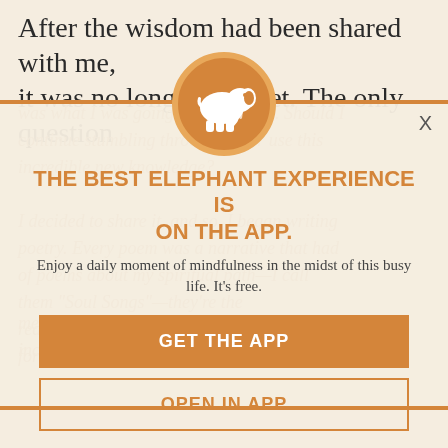After the wisdom had been shared with me, it was no longer a secret. The only question
was what I was going to do about it. Should I continue stumbling through life or use this incredible new knowledge?
[Figure (illustration): White elephant silhouette on an orange circular background — Elephant Journal app logo]
THE BEST ELEPHANT EXPERIENCE IS ON THE APP.
Enjoy a daily moment of mindfulness in the midst of this busy life. It's free.
GET THE APP
OPEN IN APP